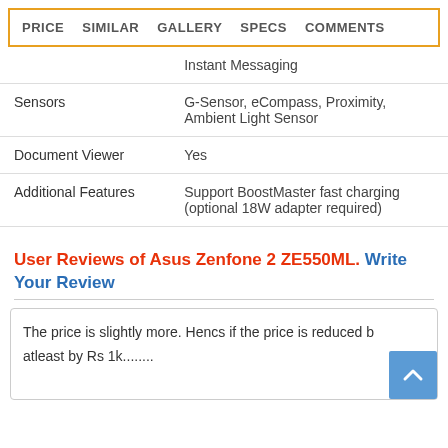PRICE  SIMILAR  GALLERY  SPECS  COMMENTS
|  | Instant Messaging |
| Sensors | G-Sensor, eCompass, Proximity, Ambient Light Sensor |
| Document Viewer | Yes |
| Additional Features | Support BoostMaster fast charging (optional 18W adapter required) |
User Reviews of Asus Zenfone 2 ZE550ML. Write Your Review
The price is slightly more. Hencs if the price is reduced by atleast by Rs 1k........